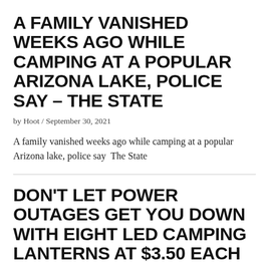A FAMILY VANISHED WEEKS AGO WHILE CAMPING AT A POPULAR ARIZONA LAKE, POLICE SAY – THE STATE
by Hoot / September 30, 2021
A family vanished weeks ago while camping at a popular Arizona lake, police say  The State
DON'T LET POWER OUTAGES GET YOU DOWN WITH EIGHT LED CAMPING LANTERNS AT $3.50 EACH